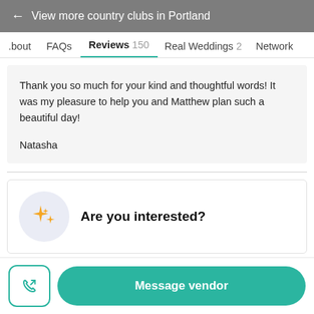← View more country clubs in Portland
About  FAQs  Reviews 150  Real Weddings 2  Network
Thank you so much for your kind and thoughtful words! It was my pleasure to help you and Matthew plan such a beautiful day!

Natasha
Are you interested?
Message vendor